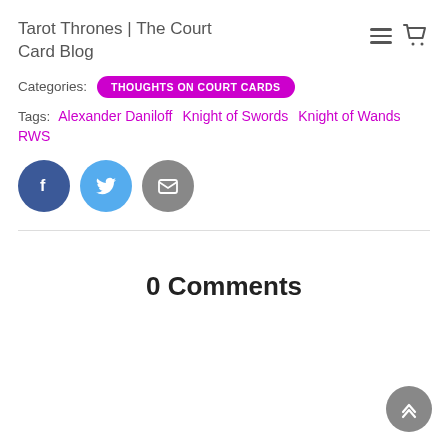Tarot Thrones | The Court Card Blog
Categories: THOUGHTS ON COURT CARDS
Tags: Alexander Daniloff   Knight of Swords   Knight of Wands   RWS
[Figure (infographic): Three social share buttons: Facebook (dark blue circle with 'f'), Twitter (light blue circle with bird icon), Email (gray circle with envelope icon)]
0 Comments